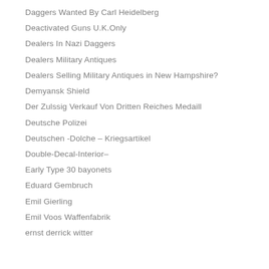Daggers Wanted By Carl Heidelberg
Deactivated Guns U.K.Only
Dealers In Nazi Daggers
Dealers Military Antiques
Dealers Selling Military Antiques in New Hampshire?
Demyansk Shield
Der Zulssig Verkauf Von Dritten Reiches Medaill
Deutsche Polizei
Deutschen -Dolche – Kriegsartikel
Double-Decal-Interior–
Early Type 30 bayonets
Eduard Gembruch
Emil Gierling
Emil Voos Waffenfabrik
ernst derrick witter